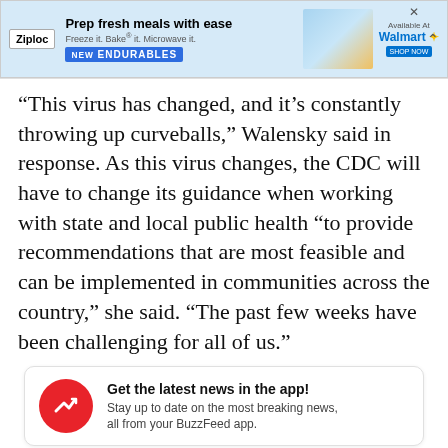[Figure (screenshot): Ziploc advertisement banner: 'Prep fresh meals with ease. Freeze it. Bake it. Microwave it. NEW ENDURABLES' with Walmart branding and shop now button.]
“This virus has changed, and it’s constantly throwing up curveballs,” Walensky said in response. As this virus changes, the CDC will have to change its guidance when working with state and local public health “to provide recommendations that are most feasible and can be implemented in communities across the country,” she said. “The past few weeks have been challenging for all of us.”
Get the latest news in the app! Stay up to date on the most breaking news, all from your BuzzFeed app.
Maybe later   Get the app